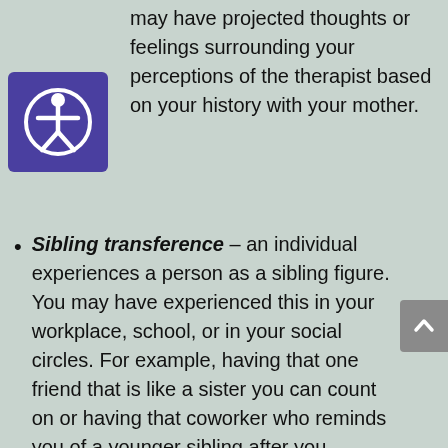may have projected thoughts or feelings surrounding your perceptions of the therapist based on your history with your mother.
[Figure (illustration): Accessibility icon — white person figure with arms and legs spread inside a circle, on a purple/indigo square background]
Sibling transference – an individual experiences a person as a sibling figure. You may have experienced this in your workplace, school, or in your social circles. For example, having that one friend that is like a sister you can count on or having that coworker who reminds you of a younger sibling after you trained them. This may bring out different parts of you based on your present or past